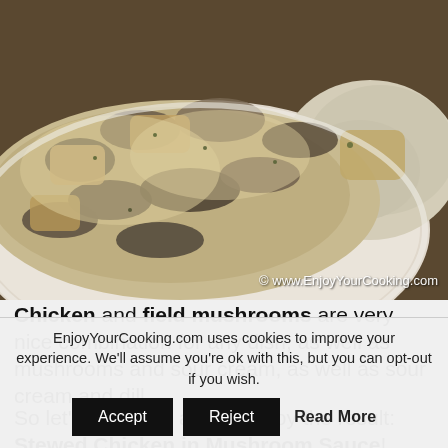[Figure (photo): A plate of stewed chicken with field mushrooms in creamy sour cream sauce, served with mashed potatoes. Watermark reads: © www.EnjoyYourCooking.com]
Chicken and field mushrooms are very nice combination for any dish, as well as mushrooms and sour cream, as well as sour cream and dill.

So let's mix them all and enjoy the result: Stewed Chicken in Mushroom Sauce! Best
EnjoyYourCooking.com uses cookies to improve your experience. We'll assume you're ok with this, but you can opt-out if you wish. Accept Reject Read More